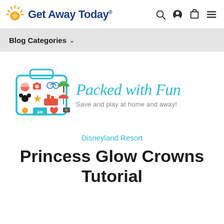Get Away Today
Blog Categories
[Figure (logo): Packed with Fun blog logo — colorful travel suitcase icon on left, 'Packed with Fun' in teal script on right, subtitle: 'Save and play at home and away!']
Disneyland Resort
Princess Glow Crowns Tutorial